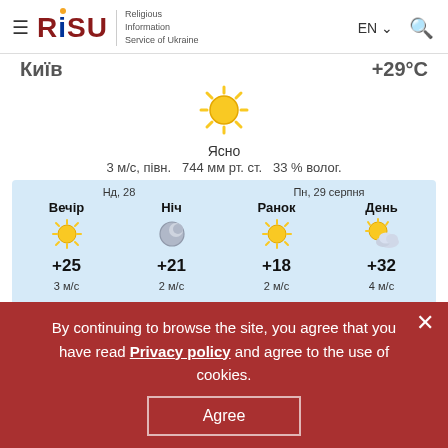RISU — Religious Information Service of Ukraine | EN | Search
[Figure (screenshot): Weather widget for Kyiv showing current weather and forecast]
By continuing to browse the site, you agree that you have read Privacy policy and agree to the use of cookies.
Agree